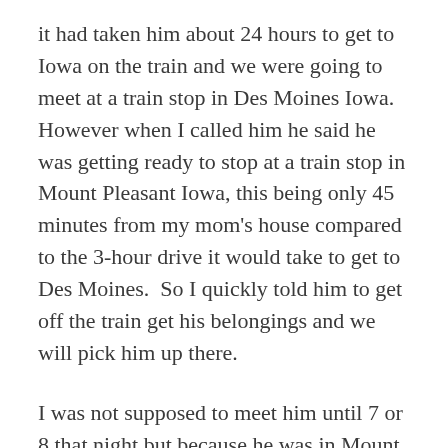it had taken him about 24 hours to get to Iowa on the train and we were going to meet at a train stop in Des Moines Iowa. However when I called him he said he was getting ready to stop at a train stop in Mount Pleasant Iowa, this being only 45 minutes from my mom's house compared to the 3-hour drive it would take to get to Des Moines.  So I quickly told him to get off the train get his belongings and we will pick him up there.
I was not supposed to meet him until 7 or 8 that night but because he was in Mount Pleasant I was now going to meet him six hours earlier than planned and my mind and my heart was not prepared to stand in front of the man that I'm